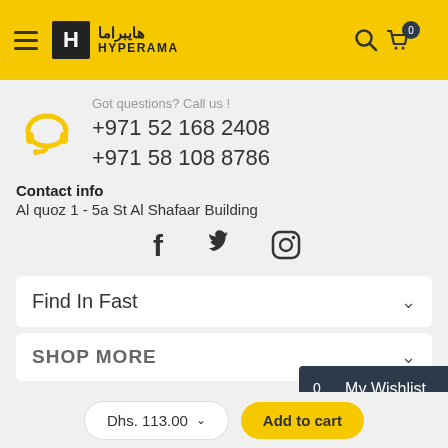Hyperrama / هايبراما
Got questions? Call us !
+971 52 168 2408
+971 58 108 8786
Contact info
Al quoz 1 - 5a St Al Shafaar Building
[Figure (illustration): Social media icons: Facebook, Twitter, Instagram]
Find In Fast
SHOP MORE
My Wishlist
Chat with us
Dhs. 113.00
Add to cart